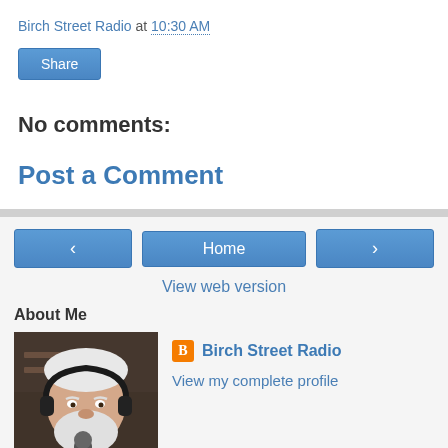Birch Street Radio at 10:30 AM
Share
No comments:
Post a Comment
‹
Home
›
View web version
About Me
[Figure (photo): Profile photo of a white-bearded man wearing headphones at a microphone]
Birch Street Radio
View my complete profile
Powered by Blogger.